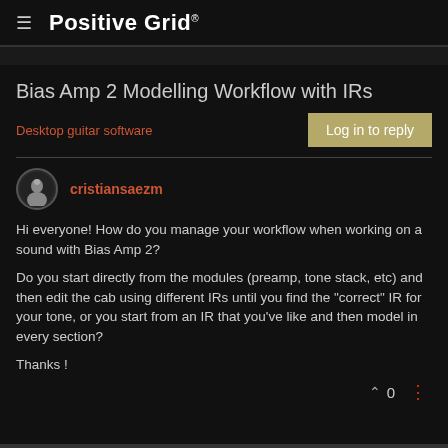Positive Grid
Bias Amp 2 Modelling Workflow with IRs
Desktop guitar software
Log in to reply
cristiansaezm
Hi everyone! How do you manage your workflow when working on a sound with Bias Amp 2?
Do you start directly from the modules (preamp, tone stack, etc) and then edit the cab using different IRs until you find the "correct" IR for your tone, or you start from an IR that you've like and then model in every section?
Thanks !
0